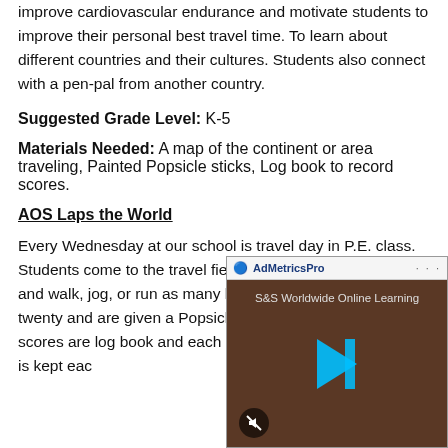improve cardiovascular endurance and motivate students to improve their personal best travel time. To learn about different countries and their cultures. Students also connect with a pen-pal from another country.
Suggested Grade Level: K-5
Materials Needed: A map of the continent or area traveling, Painted Popsicle sticks, Log book to record scores.
AOS Laps the World
Every Wednesday at our school is travel day in P.E. class. Students come to the travel field which is a tenth of a mile and walk, jog, or run as many laps. Students work up to a twenty and are given a Popsicle stick they complete. All scores are log book and each class is given for the day. A total is kept each
[Figure (screenshot): AdMetricsPro advertisement overlay showing S&S Worldwide Online Learning video player with play button and mute button]